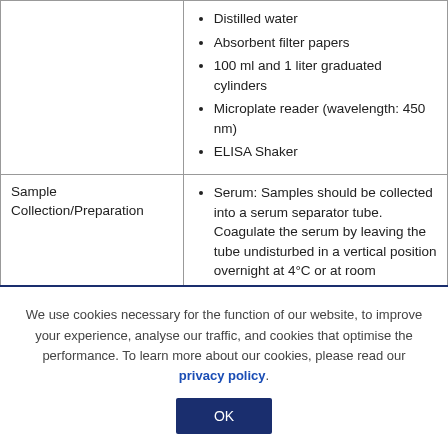|  |  |
| --- | --- |
|  | Distilled water
Absorbent filter papers
100 ml and 1 liter graduated cylinders
Microplate reader (wavelength: 450 nm)
ELISA Shaker |
| Sample Collection/Preparation | Serum: Samples should be collected into a serum separator tube. Coagulate the serum by leaving the tube undisturbed in a vertical position overnight at 4°C or at room temperature for up |
We use cookies necessary for the function of our website, to improve your experience, analyse our traffic, and cookies that optimise the performance. To learn more about our cookies, please read our privacy policy.